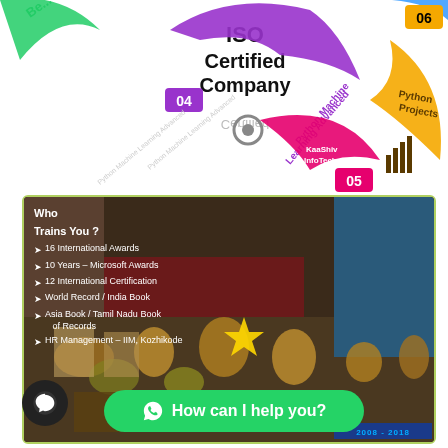[Figure (infographic): Circular course navigation infographic showing numbered segments: 04 Python Machine Learning Advanced (purple arc), 05 KaaShiv InfoTech (pink/magenta center), 06 Python Projects (gold/yellow arc), ISO Certified Company text in center top. Green and blue partial arcs visible at edges.]
[Figure (photo): Photo of a man in a blue shirt standing beside a large collection of trophies and awards. Overlaid text lists credentials: 16 International Awards, 10 Years Microsoft Awards, 12 International Certification, World Record / India Book, Asia Book / Tamil Nadu Book of Records, HR Management - IIM, Kozhikode. Header: Who Trains You?]
How can I help you?
2008 - 2018